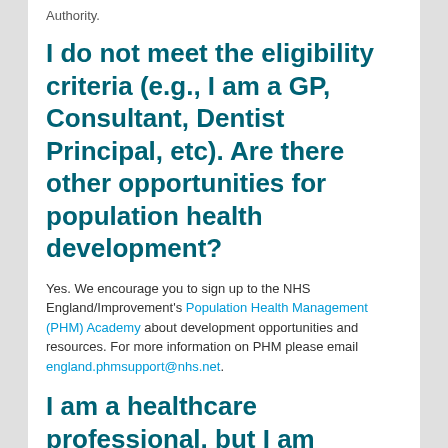Authority.
I do not meet the eligibility criteria (e.g., I am a GP, Consultant, Dentist Principal, etc).  Are there other opportunities for population health development?
Yes. We encourage you to sign up to the NHS England/Improvement's Population Health Management (PHM) Academy about development opportunities and resources.  For more information on PHM please email england.phmsupport@nhs.net.
I am a healthcare professional, but I am currently not working in a